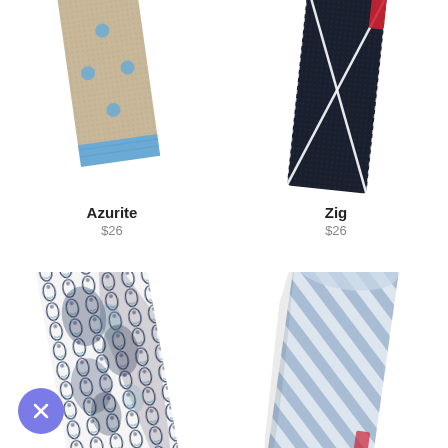[Figure (photo): Beige/tan knit tie with blue polka dots and blue stripe at bottom edge, folded flat, top portion visible]
[Figure (photo): Dark navy knit tie with white diagonal cross/zig-zag pattern and red detail, folded flat]
Azurite
$26
Zig
$26
[Figure (photo): White tie with dark navy/black and light blue paisley floral pattern, with blue/purple close button overlaid at bottom left]
[Figure (photo): Light blue chambray striped tie with cream/white diagonal stripes, rolled/folded]